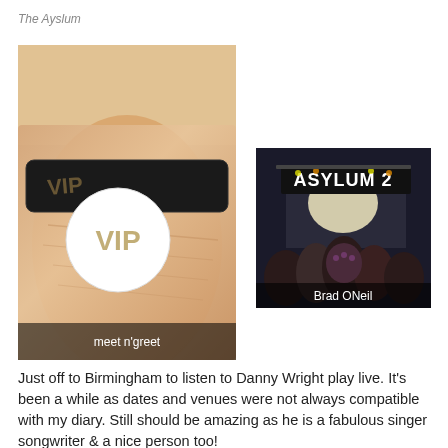The Ayslum
[Figure (photo): Close-up photo of a wrist wearing a black VIP wristband with white circle showing 'VIP'. Text overlay at bottom reads 'meet n'greet'.]
[Figure (photo): Dark photo of a concert venue showing a stage with 'ASYLUM 2' signage lit up, crowd of people watching. Text overlay reads 'Brad ONeil'.]
Just off to Birmingham to listen to Danny Wright play live. It's been a while as dates and venues were not always compatible with my diary. Still should be amazing as he is a fabulous singer songwriter & a nice person too!